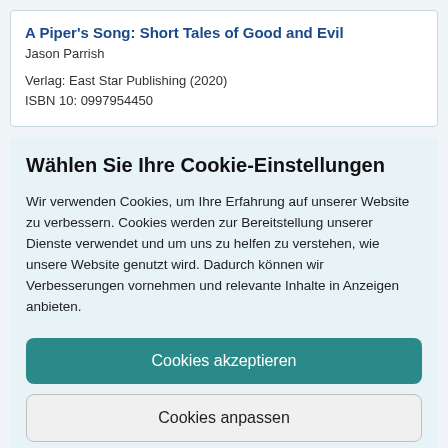A Piper's Song: Short Tales of Good and Evil
Jason Parrish
Verlag: East Star Publishing (2020)
ISBN 10: 0997954450
Wählen Sie Ihre Cookie-Einstellungen
Wir verwenden Cookies, um Ihre Erfahrung auf unserer Website zu verbessern. Cookies werden zur Bereitstellung unserer Dienste verwendet und um uns zu helfen zu verstehen, wie unsere Website genutzt wird. Dadurch können wir Verbesserungen vornehmen und relevante Inhalte in Anzeigen anbieten.
Cookies akzeptieren
Cookies anpassen